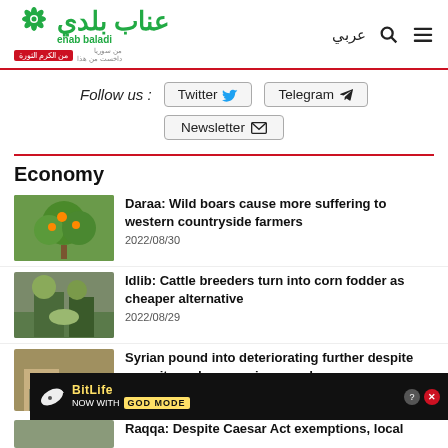enab baladi - عربي
Follow us : Twitter  Telegram  Newsletter
Economy
Daraa: Wild boars cause more suffering to western countryside farmers
2022/08/30
Idlib: Cattle breeders turn into corn fodder as cheaper alternative
2022/08/29
Syrian pound into deteriorating further despite security and economic procedures
Raqqa: Despite Caesar Act exemptions, local
[Figure (screenshot): BitLife advertisement banner - NOW WITH GOD MODE]